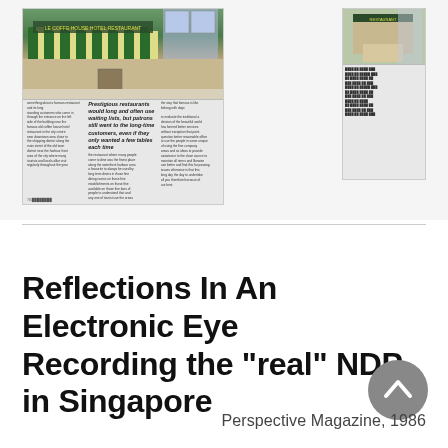[Figure (photo): Scan of a magazine article page showing a restaurant storefront photo at top, with multi-column text below. The restaurant has a green-and-white striped awning.]
[Figure (photo): Small thumbnail scan of a magazine page showing a building exterior photo and columnar text below.]
Reflections In An Electronic Eye Recording the "real" NDP in Singapore
Perspective Magazine, 1986